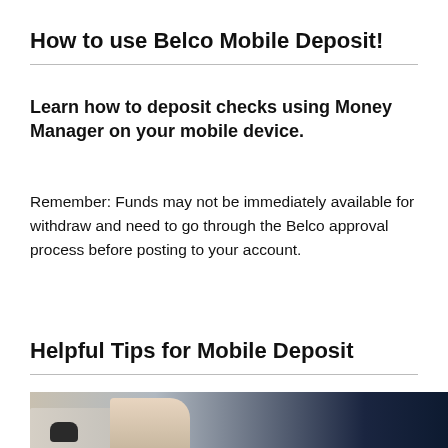How to use Belco Mobile Deposit!
Learn how to deposit checks using Money Manager on your mobile device.
Remember: Funds may not be immediately available for withdraw and need to go through the Belco approval process before posting to your account.
Helpful Tips for Mobile Deposit
[Figure (photo): Photo of a person's hands at a desk with a computer mouse, appearing to handle documents, with dark background suggesting a business or office setting.]